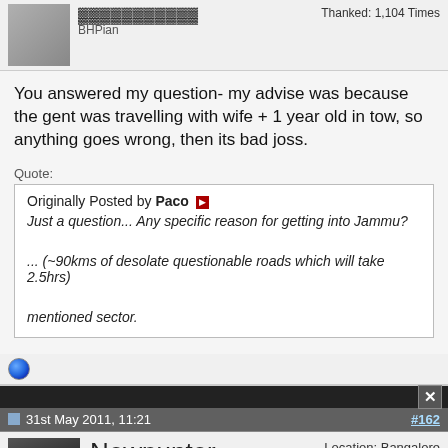Thanked: 1,104 Times
BHPian
You answered my question- my advise was because the gent was travelling with wife + 1 year old in tow, so anything goes wrong, then its bad joss.
Quote: Originally Posted by Paco ▶ Just a question... Any specific reason for getting into Jammu? ... (~90kms of desolate questionable roads which will take 2.5hrs) mentioned sector.
31st May 2011, 11:21
#162
Newpunter
BHPian
Location: Bangalore
Posts: 736
Thanked: 261 Times